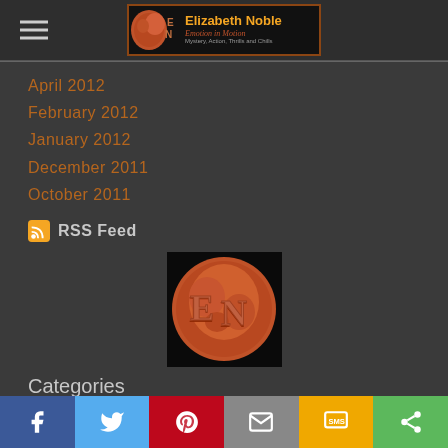[Figure (logo): Elizabeth Noble author logo banner with moon image and text 'Emotion in Motion, Mystery, Action, Thrills and Chills']
April 2012
February 2012
January 2012
December 2011
October 2011
RSS Feed
[Figure (logo): Elizabeth Noble EN logo - red/orange moon with EN letters on black background]
Categories
All
Social share bar: Facebook, Twitter, Pinterest, Email, SMS, Share